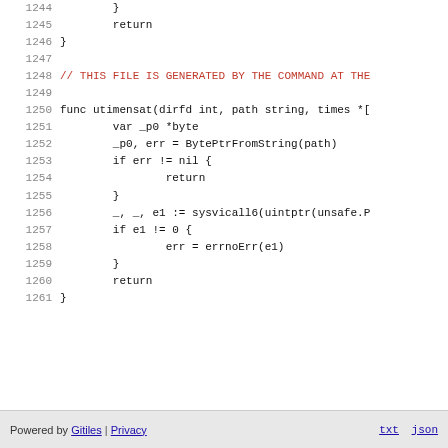Code listing lines 1244-1261: Go source code showing utimensat function implementation
Powered by Gitiles | Privacy    txt  json